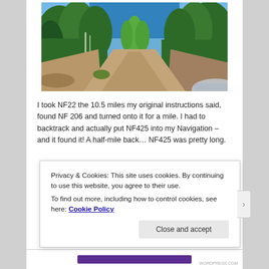[Figure (photo): A dirt forest road going straight into the distance, flanked by tall green pine and aspen trees under a clear blue sky. The hood of a vehicle is visible at the bottom right.]
I took NF22 the 10.5 miles my original instructions said, found NF 206 and turned onto it for a mile. I had to backtrack and actually put NF425 into my Navigation – and it found it! A half-mile back… NF425 was pretty long.
Privacy & Cookies: This site uses cookies. By continuing to use this website, you agree to their use.
To find out more, including how to control cookies, see here: Cookie Policy